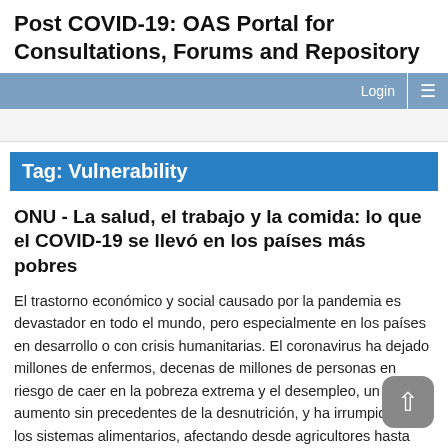Post COVID-19: OAS Portal for Consultations, Forums and Repository
Login ≡
Tag: Vulnerability
ONU - La salud, el trabajo y la comida: lo que el COVID-19 se llevó en los países más pobres
El trastorno económico y social causado por la pandemia es devastador en todo el mundo, pero especialmente en los países en desarrollo o con crisis humanitarias. El coronavirus ha dejado millones de enfermos, decenas de millones de personas en riesgo de caer en la pobreza extrema y el desempleo, un aumento sin precedentes de la desnutrición, y ha irrumpido en los sistemas alimentarios, afectando desde agricultores hasta consumidores.